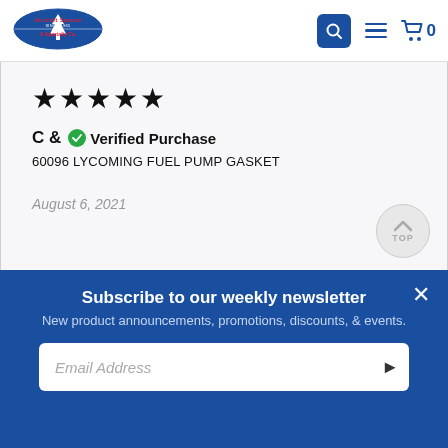[Figure (logo): Aircraft Spruce & Specialty Co. logo with tree emblem, established 1965, in red and blue]
★★★★★
C &   Verified Purchase
60096 LYCOMING FUEL PUMP GASKET
August 6, 2021
Subscribe to our weekly newsletter
New product announcements, promotions, discounts, & events.